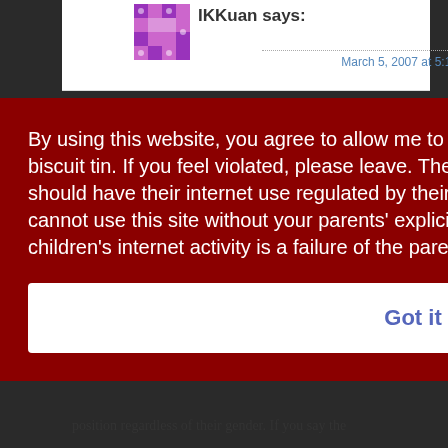IKKuan says:
March 5, 2007 at 5:18 pm
By using this website, you agree to allow me to place cookies all up in your browser's biscuit tin. If you feel violated, please leave. The internet is an adult space, and all children should have their internet use regulated by their parents. If you are under the age of 18, you cannot use this site without your parents' explicit consent. Parents' failure to monitor their children's internet activity is a failure of the parents, not me. Learn more
Got it
position regardless of their gender. If you say the